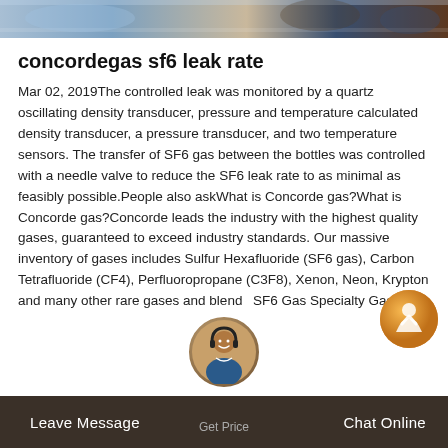[Figure (photo): Top strip showing partial photo of a scene with blue and brown tones, partially visible objects.]
concordegas sf6 leak rate
Mar 02, 2019The controlled leak was monitored by a quartz oscillating density transducer, pressure and temperature calculated density transducer, a pressure transducer, and two temperature sensors. The transfer of SF6 gas between the bottles was controlled with a needle valve to reduce the SF6 leak rate to as minimal as feasibly possible.People also askWhat is Concorde gas?What is Concorde gas?Concorde leads the industry with the highest quality gases, guaranteed to exceed industry standards. Our massive inventory of gases includes Sulfur Hexafluoride (SF6 gas), Carbon Tetrafluoride (CF4), Perfluoropropane (C3F8), Xenon, Neon, Krypton and many other rare gases and blends SF6 Gas Specialty Gases
Leave Message   Get Price   Chat Online